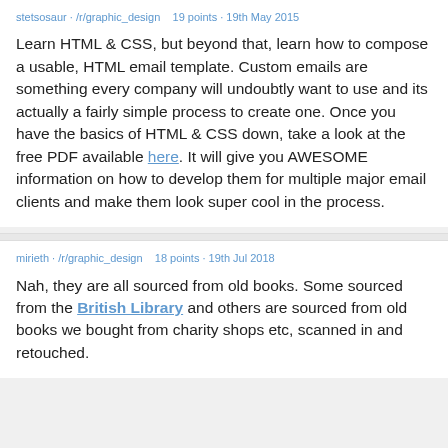stetsosaur · /r/graphic_design   19 points · 19th May 2015
Learn HTML & CSS, but beyond that, learn how to compose a usable, HTML email template. Custom emails are something every company will undoubtly want to use and its actually a fairly simple process to create one. Once you have the basics of HTML & CSS down, take a look at the free PDF available here. It will give you AWESOME information on how to develop them for multiple major email clients and make them look super cool in the process.
mirieth · /r/graphic_design   18 points · 19th Jul 2018
Nah, they are all sourced from old books. Some sourced from the British Library and others are sourced from old books we bought from charity shops etc, scanned in and retouched.